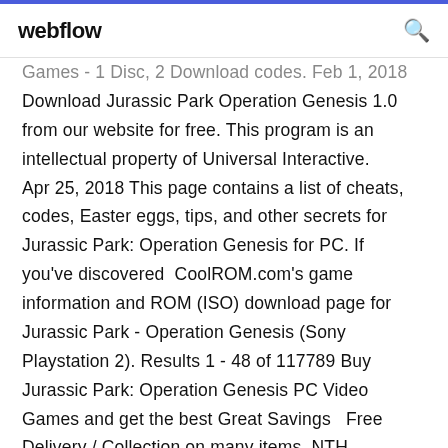webflow
Games - 1 Disc, 2 Download codes. Feb 1, 2018 Download Jurassic Park Operation Genesis 1.0 from our website for free. This program is an intellectual property of Universal Interactive. Apr 25, 2018 This page contains a list of cheats, codes, Easter eggs, tips, and other secrets for Jurassic Park: Operation Genesis for PC. If you've discovered  CoolROM.com's game information and ROM (ISO) download page for Jurassic Park - Operation Genesis (Sony Playstation 2). Results 1 - 48 of 117789 Buy Jurassic Park: Operation Genesis PC Video Games and get the best Great Savings  Free Delivery / Collection on many items. NTH DIMENSION PC 3.5" DISC BIG BOX VERSION